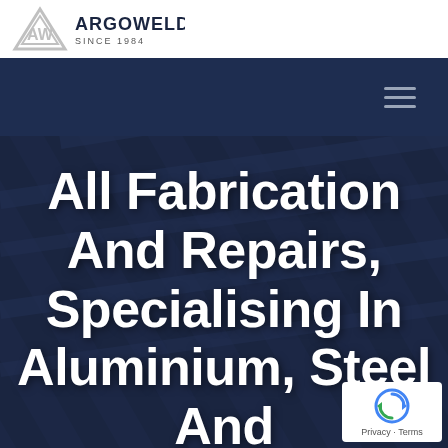[Figure (logo): Argoweld logo with AW triangular emblem and text 'ARGOWELD SINCE 1984']
[Figure (other): Navy blue navigation bar with hamburger menu icon (three horizontal lines) on the right]
All Fabrication And Repairs, Specialising In Aluminium, Steel And
[Figure (other): Google reCAPTCHA badge with spinning arrows icon and 'Privacy - Terms' text]